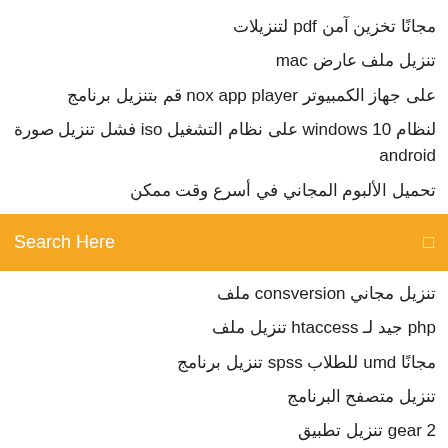مجانًا تخزين آمن pdf لتنزيلات
تنزيل ملف عارض mac
على جهاز الكمبيوتر nox app player قم بتنزيل برنامج
لنظام windows 10 على نظام التشغيل iso فشل تنزيل صورة android
تحميل الألبوم المجاني في أسرع وقت ممكن
[Figure (screenshot): Orange search bar with text 'Search Here' and a search icon]
تنزيل مجاني consversion ملف
php جيد لـ htaccess تنزيل ملف
مجانًا umd للطلاب spss تنزيل برنامج
تنزيل متصفح البرنامج
gear 2 تنزيل تطبيق
smadav تحميل مجاني أحدث نسخة من
مايكروسوفت أوتلوك 2017 سيل تنزيل
مجانًا youtube كيفية تنزيل مقاطع الفيديو من مقاطع فيديو
مجانًا android تنزيل كود مصدر تطبيق التجزئة
الروبوت تحميل المخصص خادمة 3